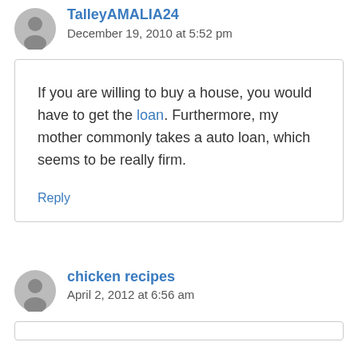TalleyAMALIA24
December 19, 2010 at 5:52 pm
If you are willing to buy a house, you would have to get the loan. Furthermore, my mother commonly takes a auto loan, which seems to be really firm.
Reply
chicken recipes
April 2, 2012 at 6:56 am